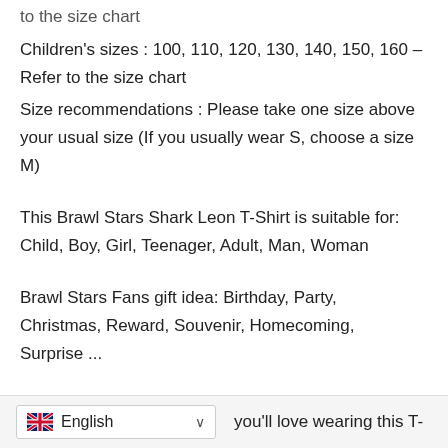to the size chart
Children's sizes : 100, 110, 120, 130, 140, 150, 160 – Refer to the size chart
Size recommendations : Please take one size above your usual size (If you usually wear S, choose a size M)
This Brawl Stars Shark Leon T-Shirt is suitable for: Child, Boy, Girl, Teenager, Adult, Man, Woman
Brawl Stars Fans gift idea: Birthday, Party, Christmas, Reward, Souvenir, Homecoming, Surprise ...
you'll love wearing this T-